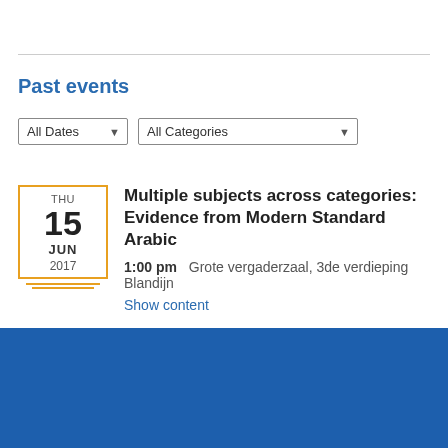Past events
All Dates   All Categories
THU 15 JUN 2017 — Multiple subjects across categories: Evidence from Modern Standard Arabic — 1:00 pm   Grote vergaderzaal, 3de verdieping Blandijn — Show content
[Figure (other): Blue footer banner at bottom of page]